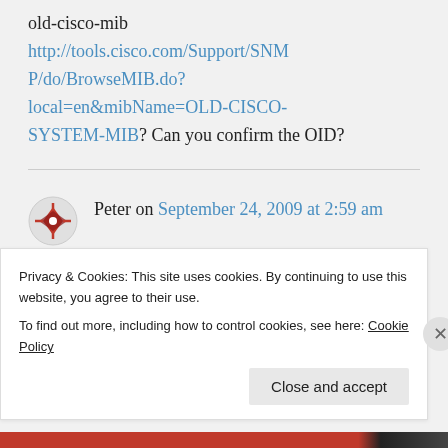old-cisco-mib http://tools.cisco.com/Support/SNMP/do/BrowseMIB.do?local=en&mibName=OLD-CISCO-SYSTEM-MIB? Can you confirm the OID?
Peter on September 24, 2009 at 2:59 am
Privacy & Cookies: This site uses cookies. By continuing to use this website, you agree to their use.
To find out more, including how to control cookies, see here: Cookie Policy